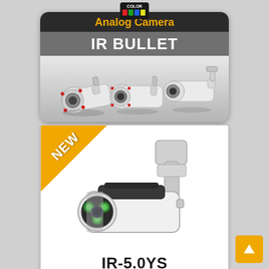[Figure (logo): COLOR logo badge with colored stripes at top center]
Analog Camera
IR BULLET
[Figure (photo): Three white IR bullet security cameras shown from different angles]
[Figure (photo): Single IR bullet security camera IR-5.0YS with NEW badge corner ribbon]
IR-5.0YS
Horizontal resolution 5 MegaPixel
Lens Standard 3.6 mm 5 MP Fixed